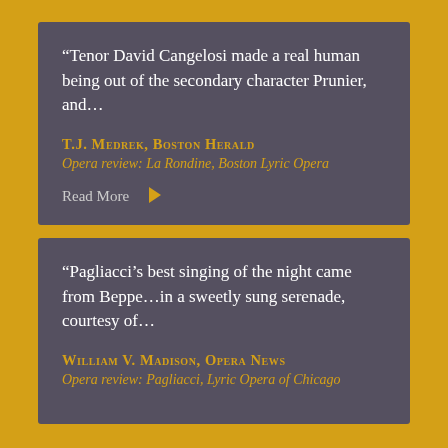“Tenor David Cangelosi made a real human being out of the secondary character Prunier, and…
T.J. Medrek, Boston Herald
Opera review: La Rondine, Boston Lyric Opera
Read More
“Pagliacci’s best singing of the night came from Beppe…in a sweetly sung serenade, courtesy of…
William V. Madison, Opera News
Opera review: Pagliacci, Lyric Opera of Chicago